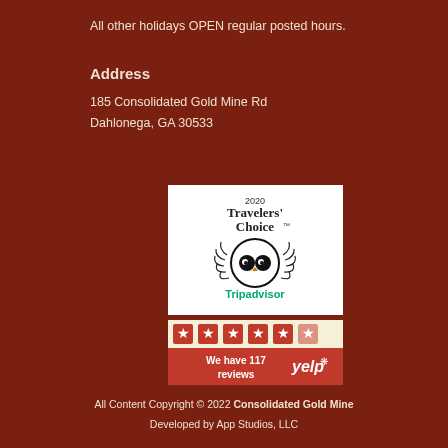All other holidays OPEN regular posted hours.
Address
185 Consolidated Gold Mine Rd
Dahlonega, GA 30533
[Figure (logo): TripAdvisor 2020 Travelers' Choice award badge with owl logo on white background]
[Figure (logo): Yelp badge showing 5 stars and text 'We have 117 reviews' on red background]
All Content Copyright © 2022 Consolidated Gold Mine
Developed by App Studios, LLC